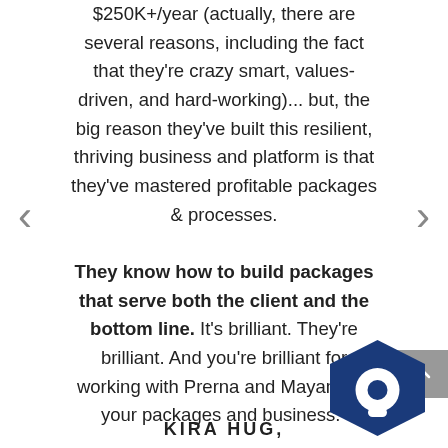$250K+/year (actually, there are several reasons, including the fact that they're crazy smart, values-driven, and hard-working)... but, the big reason they've built this resilient, thriving business and platform is that they've mastered profitable packages & processes. They know how to build packages that serve both the client and the bottom line. It's brilliant. They're brilliant. And you're brilliant for working with Prerna and Mayank on your packages and business."
KIRA HUG,
[Figure (logo): Dark blue hexagon icon with white circle chat bubble inside, bottom right corner]